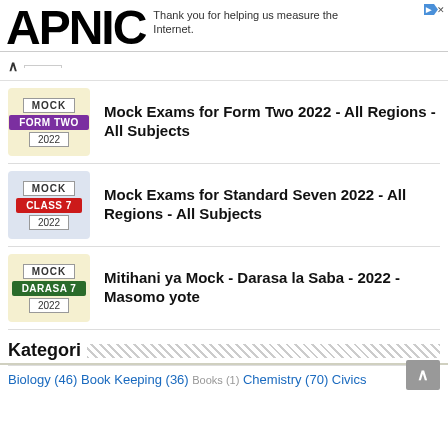APNIC — Thank you for helping us measure the Internet.
Mock Exams for Form Two 2022 - All Regions - All Subjects
Mock Exams for Standard Seven 2022 - All Regions - All Subjects
Mitihani ya Mock - Darasa la Saba - 2022 - Masomo yote
Kategori
Biology (46) Book Keeping (36) Books (1) Chemistry (70) Civics